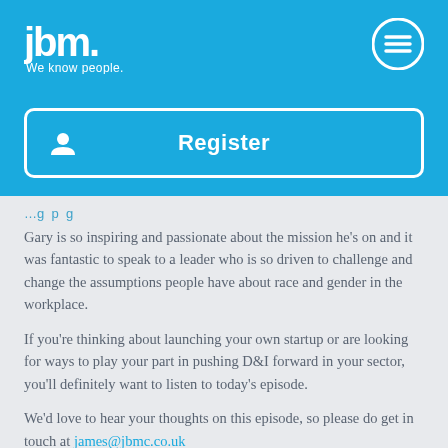[Figure (logo): jbm. We know people. logo in white on blue background]
[Figure (other): Hamburger menu icon circle on top right of blue header]
[Figure (other): Register button with person icon, white border on blue background]
Gary is so inspiring and passionate about the mission he's on and it was fantastic to speak to a leader who is so driven to challenge and change the assumptions people have about race and gender in the workplace.
If you're thinking about launching your own startup or are looking for ways to play your part in pushing D&I forward in your sector, you'll definitely want to listen to today's episode.
We'd love to hear your thoughts on this episode, so please do get in touch at james@jbmc.co.uk
If you want to find out more about Gary, take a look at